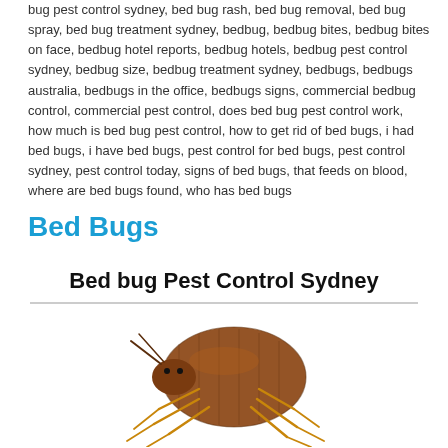bug pest control sydney, bed bug rash, bed bug removal, bed bug spray, bed bug treatment sydney, bedbug, bedbug bites, bedbug bites on face, bedbug hotel reports, bedbug hotels, bedbug pest control sydney, bedbug size, bedbug treatment sydney, bedbugs, bedbugs australia, bedbugs in the office, bedbugs signs, commercial bedbug control, commercial pest control, does bed bug pest control work, how much is bed bug pest control, how to get rid of bed bugs, i had bed bugs, i have bed bugs, pest control for bed bugs, pest control sydney, pest control today, signs of bed bugs, that feeds on blood, where are bed bugs found, who has bed bugs
Bed Bugs
Bed bug Pest Control Sydney
[Figure (photo): Close-up photograph of a bed bug (brownish-orange oval insect) viewed from the side, showing its segmented body and legs against a white background.]